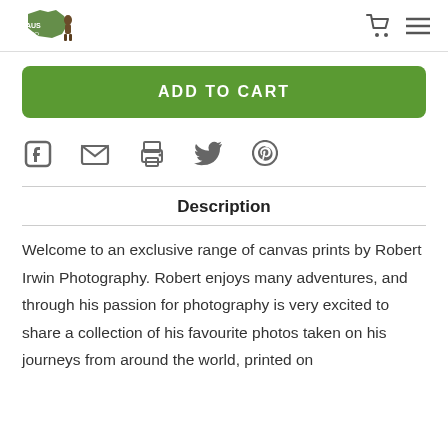Australia Zoo logo, cart icon, menu icon
[Figure (other): ADD TO CART button (green rounded rectangle)]
[Figure (other): Social share icons: Facebook, email, print, Twitter, Pinterest]
Description
Welcome to an exclusive range of canvas prints by Robert Irwin Photography. Robert enjoys many adventures, and through his passion for photography is very excited to share a collection of his favourite photos taken on his journeys from around the world, printed on